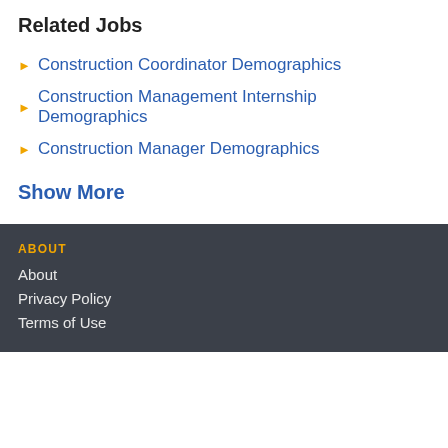Related Jobs
Construction Coordinator Demographics
Construction Management Internship Demographics
Construction Manager Demographics
Show More
ABOUT
About
Privacy Policy
Terms of Use